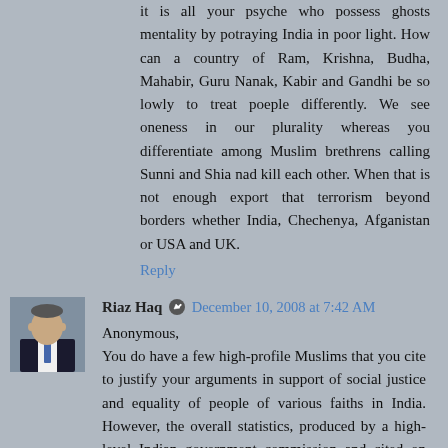it is all your psyche who possess ghosts mentality by potraying India in poor light. How can a country of Ram, Krishna, Budha, Mahabir, Guru Nanak, Kabir and Gandhi be so lowly to treat poeple differently. We see oneness in our plurality whereas you differentiate among Muslim brethrens calling Sunni and Shia nad kill each other. When that is not enough export that terrorism beyond borders whether India, Chechenya, Afganistan or USA and UK.
Reply
Riaz Haq  December 10, 2008 at 7:42 AM
Anonymous,
You do have a few high-profile Muslims that you cite to justify your arguments in support of social justice and equality of people of various faiths in India. However, the overall statistics, produced by a high-level Indian government commission and cited on this blog, tell a very different story of widespread injustice and deprivation suffered by minorities in India.
Denial is not going to change any of the facts on the ground. Indian